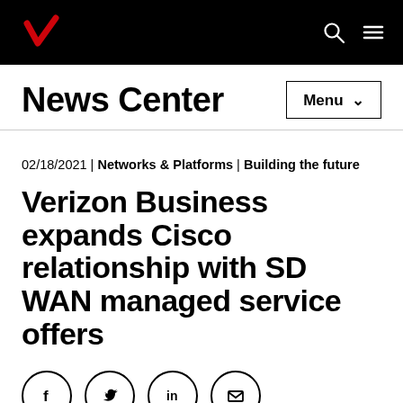Verizon News Center
02/18/2021 | Networks & Platforms | Building the future
Verizon Business expands Cisco relationship with SD WAN managed service offers
[Figure (other): Social sharing icons: Facebook, Twitter, LinkedIn, Email]
Media contact(s)